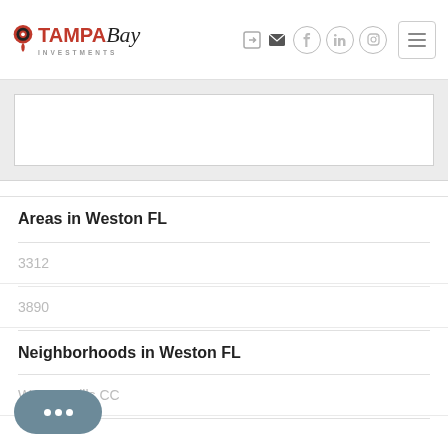[Figure (logo): Tampa Bay Investments logo with map pin icon, red TAMPA text, cursive Bay text, and INVESTMENTS subtitle]
Areas in Weston FL
3312
3890
Neighborhoods in Weston FL
Weston Hills CC